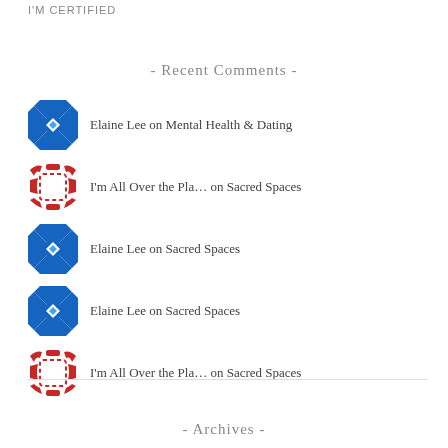I'M CERTIFIED
- Recent Comments -
Elaine Lee on Mental Health & Dating
I'm All Over the Pla... on Sacred Spaces
Elaine Lee on Sacred Spaces
Elaine Lee on Sacred Spaces
I'm All Over the Pla... on Sacred Spaces
- Archives -